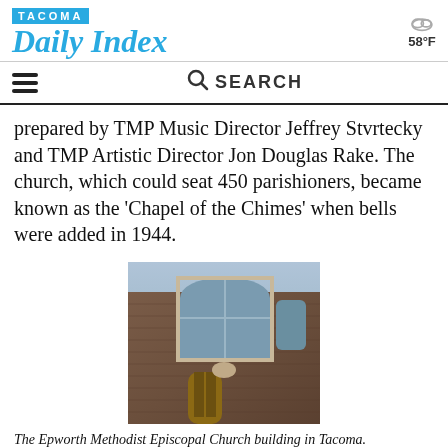TACOMA Daily Index — 58°F
prepared by TMP Music Director Jeffrey Stvrtecky and TMP Artistic Director Jon Douglas Rake. The church, which could seat 450 parishioners, became known as the 'Chapel of the Chimes' when bells were added in 1944.
[Figure (photo): The Epworth Methodist Episcopal Church building in Tacoma — a brick church facade with arched windows and wooden doors.]
The Epworth Methodist Episcopal Church building in Tacoma. (COURTESY PHOTO)